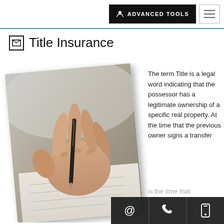ADVANCED TOOLS [navigation menu button]
Title Insurance
[Figure (photo): A hand holding a pen and signing a document, shown on a tilted photo card with shadow effect]
The term Title is a legal word indicating that the possessor has a legitimate ownership of a specific real property. At the time that the previous owner signs a transfer is the time that